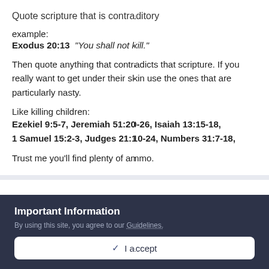Quote scripture that is contraditory
example:
Exodus 20:13  "You shall not kill."
Then quote anything that contradicts that scripture. If you really want to get under their skin use the ones that are particularly nasty.
Like killing children:
Ezekiel 9:5-7, Jeremiah 51:20-26, Isaiah 13:15-18, 1 Samuel 15:2-3, Judges 21:10-24, Numbers 31:7-18,
Trust me you'll find plenty of ammo.
Important Information
By using this site, you agree to our Guidelines.
✓ I accept